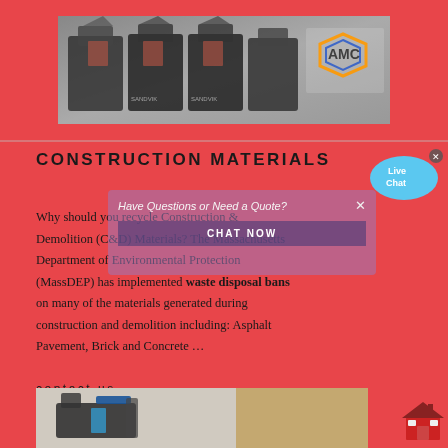[Figure (photo): Photo of large industrial crushing/mining machines in a warehouse with AMC logo visible in top right]
CONSTRUCTION MATERIALS
Why should you recycle Construction & Demolition (C&D) Materials? The Massachusetts Department of Environmental Protection (MassDEP) has implemented waste disposal bans on many of the materials generated during construction and demolition including: Asphalt Pavement, Brick and Concrete …
contact us
[Figure (photo): Photo of construction/demolition equipment outdoors]